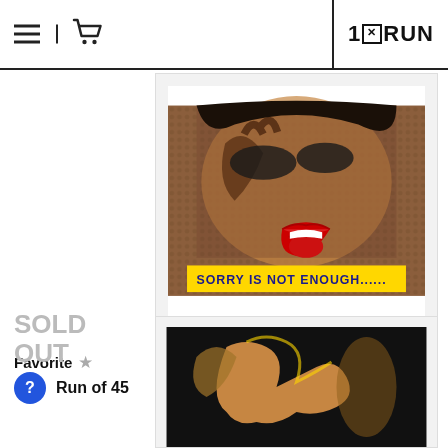1×RUN
[Figure (illustration): Pop art illustration of a dark-skinned woman with red lips and text 'SORRY IS NOT ENOUGH......' on a yellow banner, in a white frame]
Favorite ★
DENIAL
Sorry Is Not Enough
SOLD OUT
Run of 45
[Figure (illustration): Dark pop art illustration of a figure, partially visible, in a white frame]